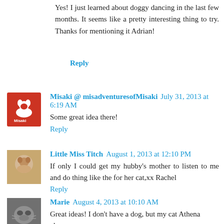Yes! I just learned about doggy dancing in the last few months. It seems like a pretty interesting thing to try. Thanks for mentioning it Adrian!
Reply
Misaki @ misadventuresofMisaki  July 31, 2013 at 6:19 AM
Some great idea there!
Reply
Little Miss Titch  August 1, 2013 at 12:10 PM
If only I could get my hubby's mother to listen to me and do thing like the for her cat,xx Rachel
Reply
Marie  August 4, 2013 at 10:10 AM
Great ideas! I don't have a dog, but my cat Athena always seems